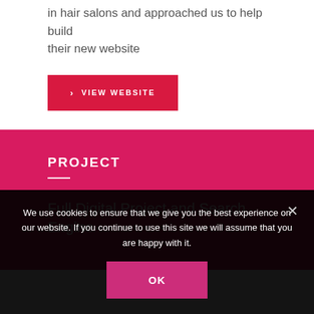in hair salons and approached us to help build their new website
› VIEW WEBSITE
PROJECT
Full Digital Project and Search Engine
We use cookies to ensure that we give you the best experience on our website. If you continue to use this site we will assume that you are happy with it.
OK